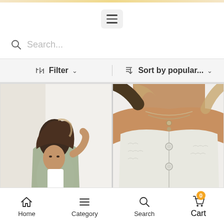Hamburger menu button
Search...
Filter   Sort by popular...
[Figure (photo): Fashion photo of a woman sitting on the floor wearing a white crop top, light green/khaki utility jacket and white pants with white sneakers, posing with one hand behind her head against a white background]
[Figure (photo): Close-up fashion photo of a woman wearing a white fuzzy/textured button-up cropped cardigan with layered necklaces, paired with blue jeans]
Home   Category   Search   Cart